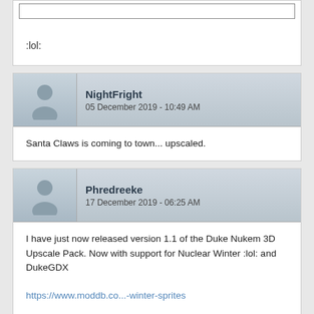:lol:
NightFright
05 December 2019 - 10:49 AM
Santa Claws is coming to town... upscaled.
Phredreeke
17 December 2019 - 06:25 AM
I have just now released version 1.1 of the Duke Nukem 3D Upscale Pack. Now with support for Nuclear Winter :lol: and DukeGDX

https://www.moddb.co...-winter-sprites

New in this release are weapon upscales (most of which were previously seen in my Total Meltdown upscale pack, although I had for some reason missed including the freezethrower in that), various HUD icons, explosions and similar effects.